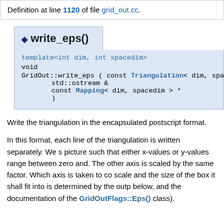Definition at line 1120 of file grid_out.cc.
◆ write_eps()
template<int dim, int spacedim>
void
GridOut::write_eps ( const Triangulation< dim, spacedim > &  tria,
  std::ostream &  out,
  const Mapping< dim, spacedim > *  mapp
  )  const
Write the triangulation in the encapsulated postscript format.
In this format, each line of the triangulation is written separately. We s picture such that either x-values or y-values range between zero and. The other axis is scaled by the same factor. Which axis is taken to co scale and the size of the box it shall fit into is determined by the outp below, and the documentation of the GridOutFlags::Eps() class).